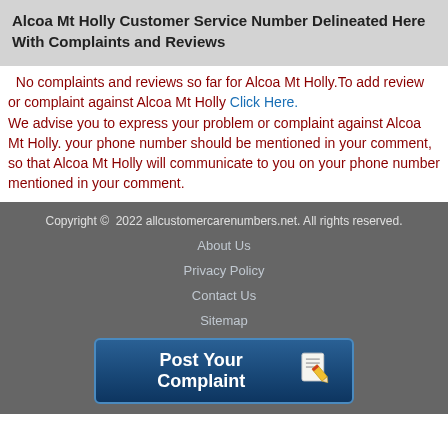Alcoa Mt Holly Customer Service Number Delineated Here With Complaints and Reviews
No complaints and reviews so far for Alcoa Mt Holly.To add review or complaint against Alcoa Mt Holly Click Here. We advise you to express your problem or complaint against Alcoa Mt Holly. your phone number should be mentioned in your comment, so that Alcoa Mt Holly will communicate to you on your phone number mentioned in your comment.
Copyright © 2022 allcustomercarenumbers.net. All rights reserved. About Us Privacy Policy Contact Us Sitemap